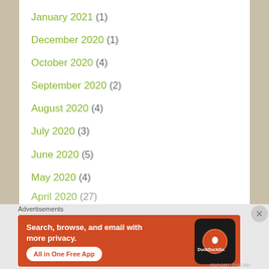January 2021 (1)
December 2020 (1)
October 2020 (4)
September 2020 (2)
August 2020 (4)
July 2020 (3)
June 2020 (5)
May 2020 (4)
April 2020 (27)
[Figure (infographic): DuckDuckGo advertisement banner: orange background with white text 'Search, browse, and email with more privacy. All in One Free App' and phone image with DuckDuckGo logo]
Advertisements